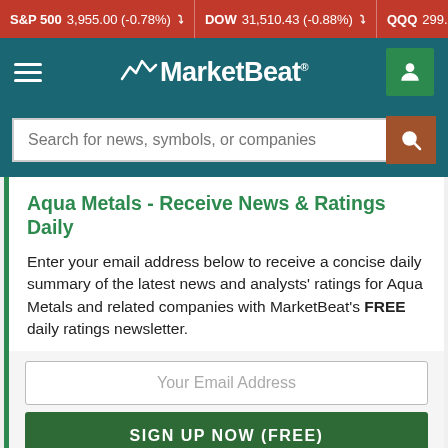S&P 500 3,955.00 (-0.78%) ▼   DOW 31,510.43 (-0.88%) ▼   QQQ 299.27 (-0...
[Figure (logo): MarketBeat logo with navigation hamburger menu and user account icon on teal background]
Search for news, symbols, or companies
Aqua Metals - Receive News & Ratings Daily
Enter your email address below to receive a concise daily summary of the latest news and analysts' ratings for Aqua Metals and related companies with MarketBeat's FREE daily ratings newsletter.
Your Email Address
SIGN UP NOW (FREE)
or
Sign up with Google
Privacy Policy